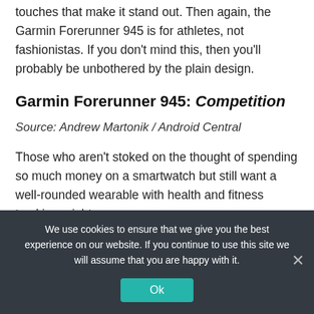touches that make it stand out. Then again, the Garmin Forerunner 945 is for athletes, not fashionistas. If you don't mind this, then you'll probably be unbothered by the plain design.
Garmin Forerunner 945: Competition
Source: Andrew Martonik / Android Central
Those who aren't stoked on the thought of spending so much money on a smartwatch but still want a well-rounded wearable with health and fitness tracking might
We use cookies to ensure that we give you the best experience on our website. If you continue to use this site we will assume that you are happy with it.